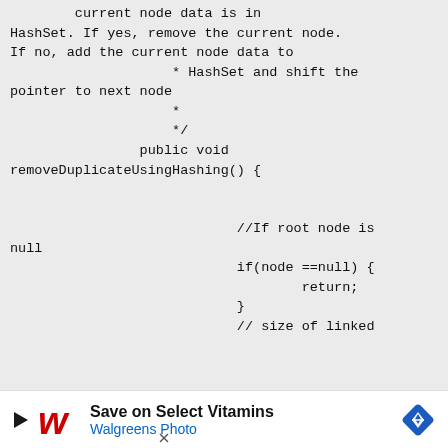current node data is in HashSet. If yes, remove the current node. If no, add the current node data to
                    * HashSet and shift the pointer to next node
                    *
                    */
                public void removeDuplicateUsingHashing() {


                            //If root node is null
                            if(node ==null) {
                                    return;
                            }
                            // size of linked
[Figure (other): Walgreens Photo advertisement banner: Save on Select Vitamins, Walgreens Photo]